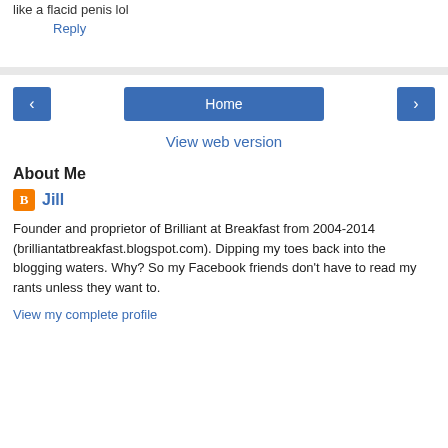like a flacid penis lol
Reply
Home
View web version
About Me
Jill
Founder and proprietor of Brilliant at Breakfast from 2004-2014 (brilliantatbreakfast.blogspot.com). Dipping my toes back into the blogging waters. Why? So my Facebook friends don't have to read my rants unless they want to.
View my complete profile